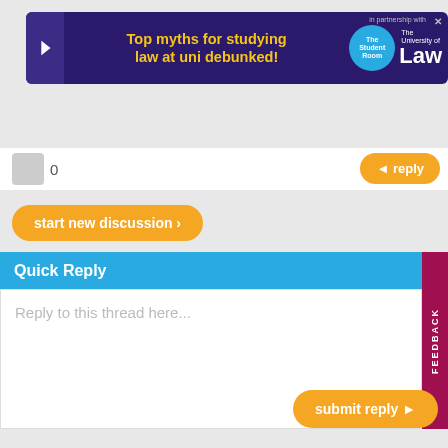[Figure (screenshot): Advertisement banner for The University of Law: 'Top myths for studying law at uni debunked!']
[Figure (screenshot): The Student Room navigation bar with log in, sign up, search, and menu icons]
0
◄ reply
start new discussion ›
Quick Reply
Reply to this thread here...
FEEDBACK
submit reply ►